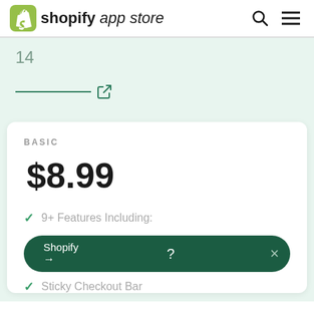shopify app store
14
BASIC
$8.99
9+ Features Including:
Sticky Checkout Bar
Shopify ? →  ×